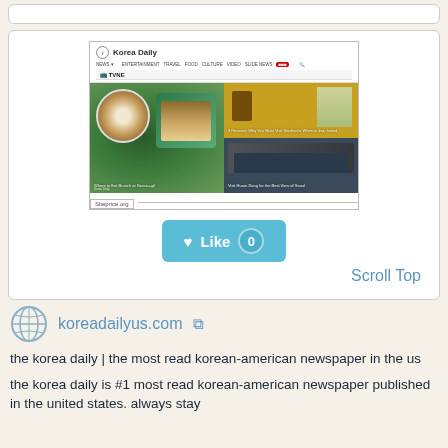[Figure (screenshot): Screenshot of koreadailyus.com website showing Korea Daily header with navigation bar (NEWS, ENTERTAINMENT, TRAVEL, FOOD, CULTURE, VIDEO, SLIDE NEWS) and a grid of food and travel article thumbnails with captions about brunch spots and Jeju Island Starbucks]
[Figure (other): Like button (blue) showing heart icon, 'Like' text, and count of 0]
Scroll Top
koreadailyus.com
the korea daily | the most read korean-american newspaper in the us
the korea daily is #1 most read korean-american newspaper published in the united states. always stay